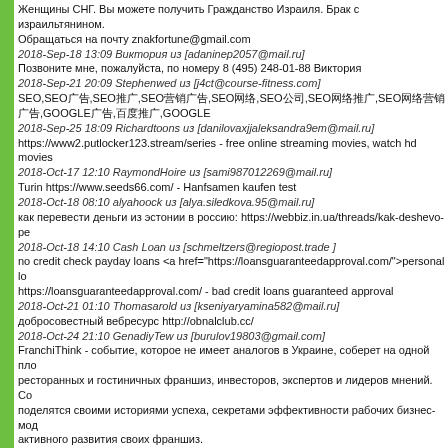Женщины СНГ. Вы можете получить Гражданство Израиля. Брак с израильтянином. Обращаться на почту znakfortune@gmail.com
2018-Sep-18 13:09 Виктория из [adaninep2057@mail.ru]
Позвоните мне, пожалуйста, по номеру 8 (495) 248-01-88 Виктория
2018-Sep-21 20:09 Stephenwed из [j4ct@course-fitness.com]
SEO,SEO广告,SEO推广,SEO营销广告,SEO网络,SEO公司,SEO网络推广,SEO网络营销广告,GOOGLE广告,百度推广,GOOGLE
2018-Sep-25 18:09 Richardtoons из [danilovaxjjaleksandra9em@mail.ru]
https://www2.putlocker123.stream/series - free online streaming movies, watch hd movies
2018-Oct-17 12:10 RaymondHoire из [sami987012269@mail.ru]
Turin https://www.seeds66.com/ - Hanfsamen kaufen test
2018-Oct-18 08:10 alyahoock из [alya.siledkova.95@mail.ru]
как перевести деньги из эстонии в россию: https://webbiz.in.ua/threads/kak-deshevo-pe
2018-Oct-18 14:10 Cash Loan из [schmeltzers@regiopost.trade ]
no credit check payday loans <a href="https://loansguaranteedapproval.com/">personal lo
https://loansguaranteedapproval.com/ - bad credit loans guaranteed approval
2018-Oct-21 01:10 Thomasarold из [kseniyaryamina582@mail.ru]
добросовестный вебресурс http://obnalclub.cc/
2018-Oct-24 21:10 GenadiyTew из [burulov19803@gmail.com]
FranchiThink - событие, которое не имеет аналогов в Украине, соберет на одной пло ресторанных и гостиничных франшиз, инвесторов, экспертов и лидеров мнений. Со поделятся своими историями успеха, секретами эффективности рабочих бизнес-мод активного развития своих франшиз.
2018-Oct-26 14:10 WilliamDrism из [stanislavadzyaduh196951@mail.ru]
первосортный вебресурс http://stsnw.ru/
2018-Oct-27 17:10 MistyKix из [info@ballistika.site]
Do you want to earn good money? Join our freelance platform freelancer UAE now! http:/
2018-Nov-05 06:11 Billysiz из [lyubavaneveleva80698@mail.ru]
благоустроенный вебресурс https://spb-girls.biz/age-40-60/
2018-Nov-06 09:11 Jamesboida из [faat5@course-fitness.com]
unethost网站空间 主机空间 http://blog.unethost.com/
2018-Nov-12 11:11 Rufuslarly из [kiryaginanastasya7768@mail.ru]
recommended you read https://kinky-fetishes.porn/1102-veruca-james-ruckus-femdom-di